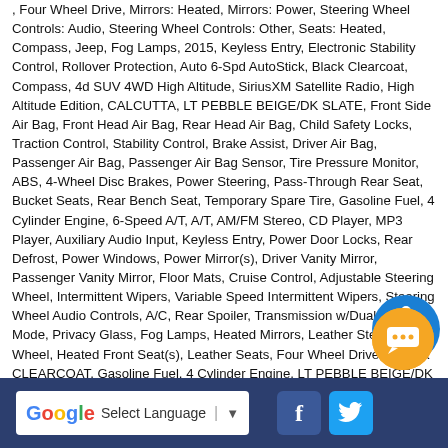, Four Wheel Drive, Mirrors: Heated, Mirrors: Power, Steering Wheel Controls: Audio, Steering Wheel Controls: Other, Seats: Heated, Compass, Jeep, Fog Lamps, 2015, Keyless Entry, Electronic Stability Control, Rollover Protection, Auto 6-Spd AutoStick, Black Clearcoat, Compass, 4d SUV 4WD High Altitude, SiriusXM Satellite Radio, High Altitude Edition, CALCUTTA, LT PEBBLE BEIGE/DK SLATE, Front Side Air Bag, Front Head Air Bag, Rear Head Air Bag, Child Safety Locks, Traction Control, Stability Control, Brake Assist, Driver Air Bag, Passenger Air Bag, Passenger Air Bag Sensor, Tire Pressure Monitor, ABS, 4-Wheel Disc Brakes, Power Steering, Pass-Through Rear Seat, Bucket Seats, Rear Bench Seat, Temporary Spare Tire, Gasoline Fuel, 4 Cylinder Engine, 6-Speed A/T, A/T, AM/FM Stereo, CD Player, MP3 Player, Auxiliary Audio Input, Keyless Entry, Power Door Locks, Rear Defrost, Power Windows, Power Mirror(s), Driver Vanity Mirror, Passenger Vanity Mirror, Floor Mats, Cruise Control, Adjustable Steering Wheel, Intermittent Wipers, Variable Speed Intermittent Wipers, Steering Wheel Audio Controls, A/C, Rear Spoiler, Transmission w/Dual Shift Mode, Privacy Glass, Fog Lamps, Heated Mirrors, Leather Steering Wheel, Heated Front Seat(s), Leather Seats, Four Wheel Drive, BLACK CLEARCOAT, Gasoline Fuel, 4 Cylinder Engine, LT PEBBLE BEIGE/DK SLATE, LEATHER TRIMMED BUCKET SEATS, Immobilizer
[Figure (illustration): Blue circular accessibility icon with wheelchair symbol]
[Figure (illustration): Orange circular chat/message button]
Select Language | ▼  [Facebook icon] [Twitter icon]